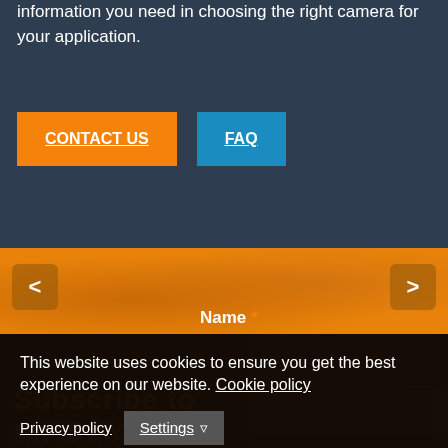information you need in choosing the right camera for your application.
CONTACT US
FAQ
< >
Name *
This website uses cookies to ensure you get the best experience on our website. Cookie policy
Privacy policy
Settings
Decline
Allow all cookies
our newsletter
STAY UPDATED ON OUR